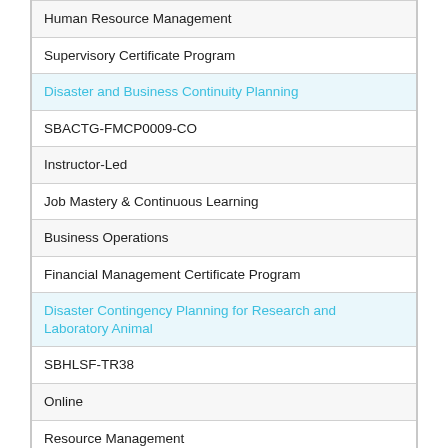| Human Resource Management |
| Supervisory Certificate Program |
| Disaster and Business Continuity Planning |
| SBACTG-FMCP0009-CO |
| Instructor-Led |
| Job Mastery & Continuous Learning |
| Business Operations |
| Financial Management Certificate Program |
| Disaster Contingency Planning for Research and Laboratory Animal |
| SBHLSF-TR38 |
| Online |
| Resource Management |
| Environmental & Occupational Safety |